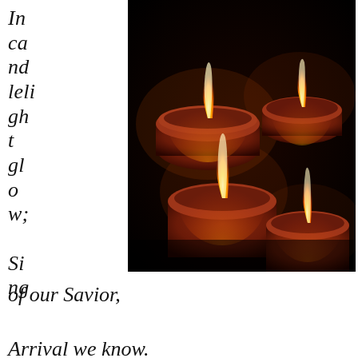In ca nd leli gh t gl o w; Si ng of our Savior, Arrival we know.
[Figure (photo): Four red pillar candles burning with warm orange-yellow flames against a dark black background, arranged in a cluster.]